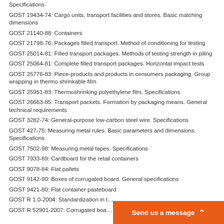Specifications
GOST 19434-74: Cargo units, transport facilities and stores. Basic matching dimensions
GOST 21140-88: Containers
GOST 21798-76: Packages filled transport. Method of conditioning for testing
GOST 25014-81: Filled transport packages. Methods of testing strength in piling
GOST 25064-81: Complete filled transport packages. Horizontal impact tests
GOST 25776-83: Piece-products and products in consumers packaging. Group wrapping in thermo shrinkable film
GOST 25951-83: Thermoshrinking polyethylene film. Specifications
GOST 26663-85: Transport packets. Formation by packaging means. General technical requirements
GOST 3282-74: General-purpose low-carbon steel wire. Specifications
GOST 427-75: Measuring metal rules. Basic parameters and dimensions. Specifications
GOST 7502-98: Measuring metal tapes. Specifications
GOST 7933-89: Cardboard for the retail containers
GOST 9078-84: Flat pallets
GOST 9142-90: Boxes of corrugated board. General specifications
GOST 9421-80: Flat container pasteboard
GOST R 1.0-2004: Standardization in t…
GOST R 52901-2007: Corrugated boa…
[Figure (other): Orange 'Send us a message' button banner at bottom right]